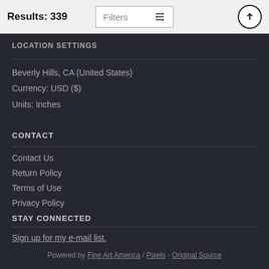Results: 339
LOCATION SETTINGS
Beverly Hills, CA (United States)
Currency: USD ($)
Units: Inches
CONTACT
Contact Us
Return Policy
Terms of Use
Privacy Policy
STAY CONNECTED
Sign up for my e-mail list.
Powered by Fine Art America / Pixels - Original Source